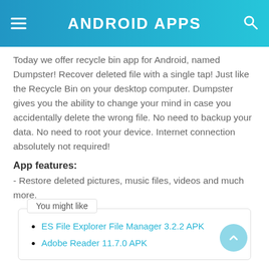ANDROID APPS
Today we offer recycle bin app for Android, named Dumpster! Recover deleted file with a single tap! Just like the Recycle Bin on your desktop computer. Dumpster gives you the ability to change your mind in case you accidentally delete the wrong file. No need to backup your data. No need to root your device. Internet connection absolutely not required!
App features:
- Restore deleted pictures, music files, videos and much more.
You might like
ES File Explorer File Manager 3.2.2 APK
Adobe Reader 11.7.0 APK